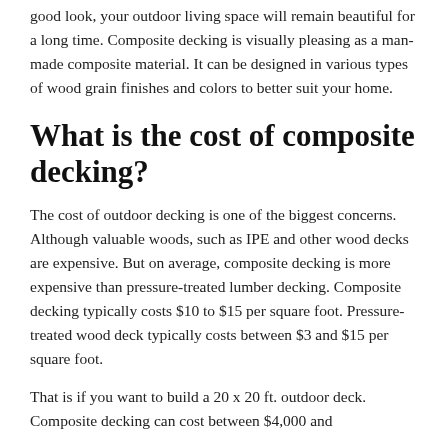good look, your outdoor living space will remain beautiful for a long time. Composite decking is visually pleasing as a man-made composite material. It can be designed in various types of wood grain finishes and colors to better suit your home.
What is the cost of composite decking?
The cost of outdoor decking is one of the biggest concerns. Although valuable woods, such as IPE and other wood decks are expensive. But on average, composite decking is more expensive than pressure-treated lumber decking. Composite decking typically costs $10 to $15 per square foot. Pressure-treated wood deck typically costs between $3 and $15 per square foot.
That is if you want to build a 20 x 20 ft. outdoor deck. Composite decking can cost between $4,000 and